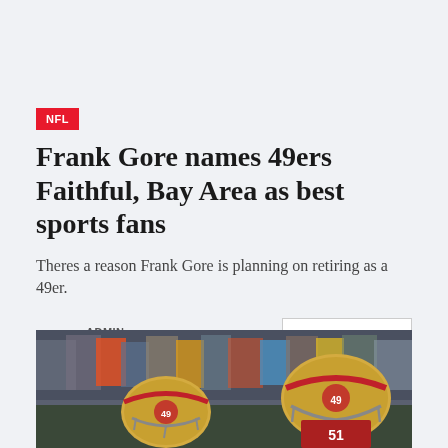NFL
Frank Gore names 49ers Faithful, Bay Area as best sports fans
Theres a reason Frank Gore is planning on retiring as a 49er.
ADMIN
APRIL 3, 2022
READ MORE
[Figure (photo): Two San Francisco 49ers players in gold helmets on a football field with crowd in background]